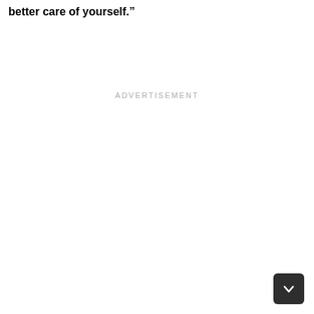better care of yourself."
ADVERTISEMENT
[Figure (other): Dark rounded square button with a downward chevron arrow icon in the bottom-right corner of the page]